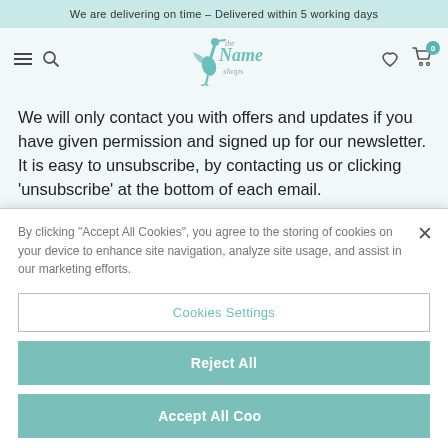We are delivering on time – Delivered within 5 working days
[Figure (logo): The Name Shops logo with a stork bird illustration in teal]
We will only contact you with offers and updates if you have given permission and signed up for our newsletter. It is easy to unsubscribe, by contacting us or clicking 'unsubscribe' at the bottom of each email.
By clicking "Accept All Cookies", you agree to the storing of cookies on your device to enhance site navigation, analyze site usage, and assist in our marketing efforts.
Cookies Settings
Reject All
Accept All Cookies